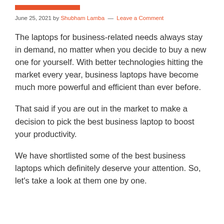[Figure (other): Orange/red decorative horizontal bar at top of article]
June 25, 2021 by Shubham Lamba — Leave a Comment
The laptops for business-related needs always stay in demand, no matter when you decide to buy a new one for yourself. With better technologies hitting the market every year, business laptops have become much more powerful and efficient than ever before.
That said if you are out in the market to make a decision to pick the best business laptop to boost your productivity.
We have shortlisted some of the best business laptops which definitely deserve your attention. So, let's take a look at them one by one.